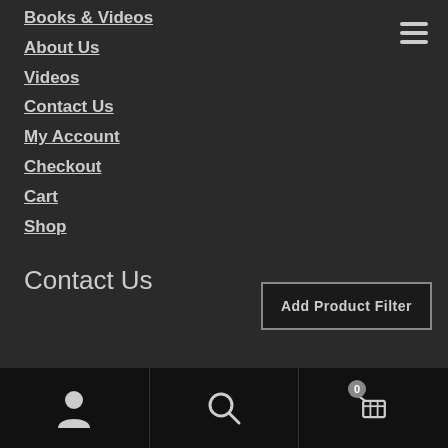Books & Videos
About Us
Videos
Contact Us
My Account
Checkout
Cart
Shop
Contact Us
Add Product Filter
PATC
2134 E. Texas Street
User | Search | Cart 0